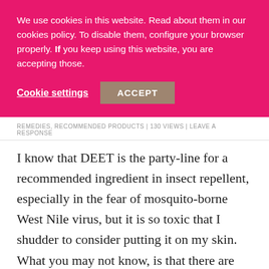We use cookies in this website. Read about them in our cookies policy. To disable them, configure your browser properly. If you keep using this website, you are accepting those.
Cookie settings  ACCEPT
REMEDIES, RECOMMENDED PRODUCTS | 130 VIEWS | LEAVE A RESPONSE
I know that DEET is the party-line for a recommended ingredient in insect repellent, especially in the fear of mosquito-borne West Nile virus, but it is so toxic that I shudder to consider putting it on my skin. What you may not know, is that there are alternatives to using this toxic chemical that may be as effective as DEET at repelling biting insects and keeping you safe from West Nile virus...